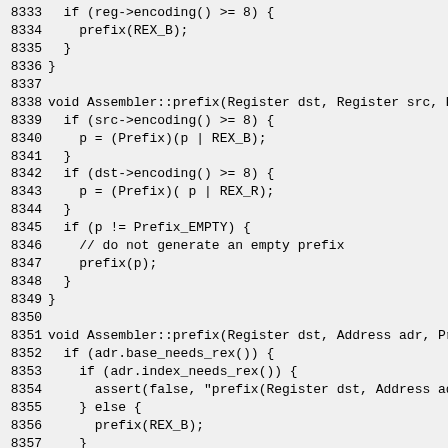Code listing lines 8333-8362, C++ assembler prefix functions
8333   if (reg->encoding() >= 8) {
8334     prefix(REX_B);
8335   }
8336 }
8337
8338 void Assembler::prefix(Register dst, Register src, P
8339   if (src->encoding() >= 8) {
8340     p = (Prefix)(p | REX_B);
8341   }
8342   if (dst->encoding() >= 8) {
8343     p = (Prefix)( p | REX_R);
8344   }
8345   if (p != Prefix_EMPTY) {
8346     // do not generate an empty prefix
8347     prefix(p);
8348   }
8349 }
8350
8351 void Assembler::prefix(Register dst, Address adr, Pr
8352   if (adr.base_needs_rex()) {
8353     if (adr.index_needs_rex()) {
8354       assert(false, "prefix(Register dst, Address ad
8355     } else {
8356       prefix(REX_B);
8357     }
8358   } else {
8359     if (adr.index_needs_rex()) {
8360       assert(false, "prefix(Register dst, Address ad
8361     }
8362   }